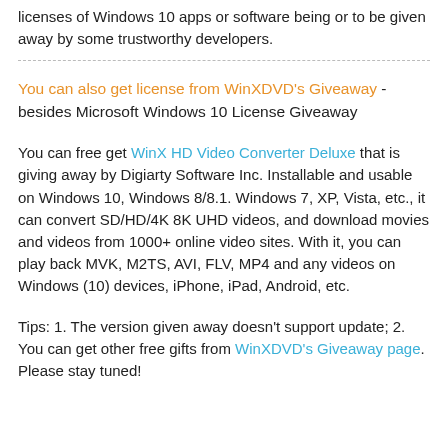licenses of Windows 10 apps or software being or to be given away by some trustworthy developers.
You can also get license from WinXDVD's Giveaway - besides Microsoft Windows 10 License Giveaway
You can free get WinX HD Video Converter Deluxe that is giving away by Digiarty Software Inc. Installable and usable on Windows 10, Windows 8/8.1. Windows 7, XP, Vista, etc., it can convert SD/HD/4K 8K UHD videos, and download movies and videos from 1000+ online video sites. With it, you can play back MVK, M2TS, AVI, FLV, MP4 and any videos on Windows (10) devices, iPhone, iPad, Android, etc.
Tips: 1. The version given away doesn't support update; 2. You can get other free gifts from WinXDVD's Giveaway page. Please stay tuned!